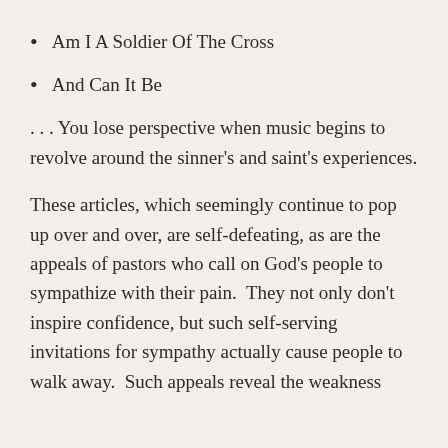Am I A Soldier Of The Cross
And Can It Be
. . . You lose perspective when music begins to revolve around the sinner’s and saint’s experiences.
These articles, which seemingly continue to pop up over and over, are self-defeating, as are the appeals of pastors who call on God’s people to sympathize with their pain.  They not only don’t inspire confidence, but such self-serving invitations for sympathy actually cause people to walk away.  Such appeals reveal the weakness